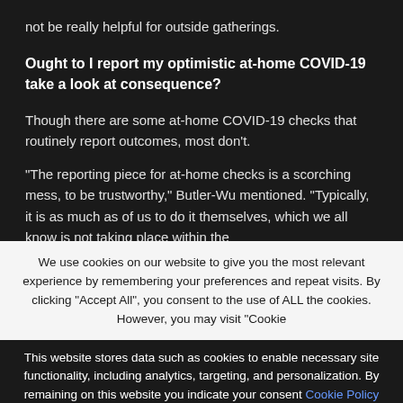not be really helpful for outside gatherings.
Ought to I report my optimistic at-home COVID-19 take a look at consequence?
Though there are some at-home COVID-19 checks that routinely report outcomes, most don’t.
“The reporting piece for at-home checks is a scorching mess, to be trustworthy,” Butler-Wu mentioned. “Typically, it is as much as of us to do it themselves, which we all know is not taking place within the
We use cookies on our website to give you the most relevant experience by remembering your preferences and repeat visits. By clicking “Accept All”, you consent to the use of ALL the cookies. However, you may visit “Cookie
This website stores data such as cookies to enable necessary site functionality, including analytics, targeting, and personalization. By remaining on this website you indicate your consent Cookie Policy